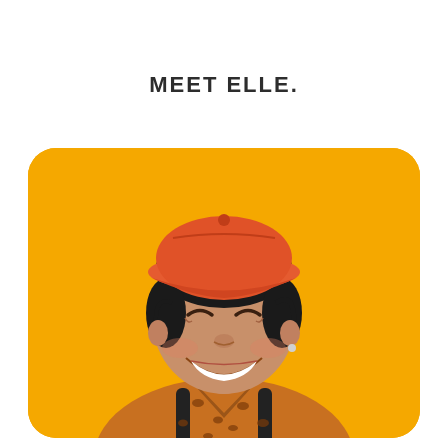MEET ELLE.
[Figure (photo): Young Asian woman smiling broadly, wearing an orange/coral baseball cap and a brown leopard-print top with black backpack straps, against a bright yellow textured wall background. The photo is displayed in a rounded-rectangle frame.]